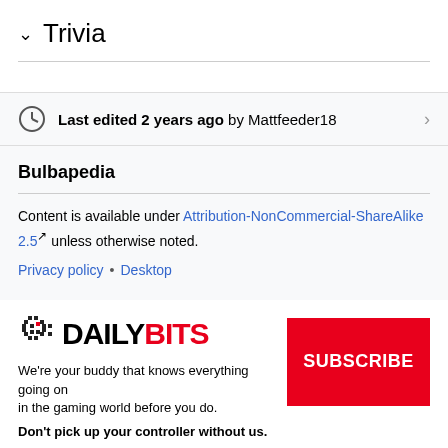∨  Trivia
Last edited 2 years ago by Mattfeeder18
Bulbapedia
Content is available under Attribution-NonCommercial-ShareAlike 2.5 unless otherwise noted.
Privacy policy • Desktop
[Figure (logo): DailyBits logo — pixelated bullet icon, DAILY in black bold, BITS in red bold]
We're your buddy that knows everything going on in the gaming world before you do.
Don't pick up your controller without us.